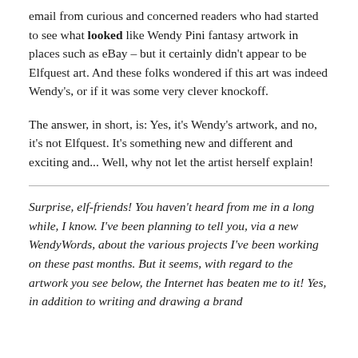email from curious and concerned readers who had started to see what looked like Wendy Pini fantasy artwork in places such as eBay – but it certainly didn't appear to be Elfquest art. And these folks wondered if this art was indeed Wendy's, or if it was some very clever knockoff.
The answer, in short, is: Yes, it's Wendy's artwork, and no, it's not Elfquest. It's something new and different and exciting and... Well, why not let the artist herself explain!
Surprise, elf-friends! You haven't heard from me in a long while, I know. I've been planning to tell you, via a new WendyWords, about the various projects I've been working on these past months. But it seems, with regard to the artwork you see below, the Internet has beaten me to it! Yes, in addition to writing and drawing a brand